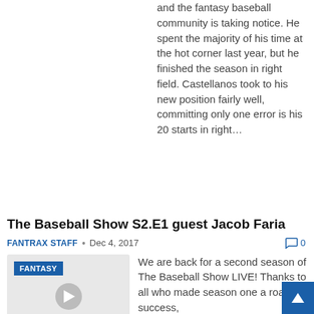and the fantasy baseball community is taking notice. He spent the majority of his time at the hot corner last year, but he finished the season in right field. Castellanos took to his new position fairly well, committing only one error is his 20 starts in right…
The Baseball Show S2.E1 guest Jacob Faria
FANTRAX STAFF • Dec 4, 2017   0
[Figure (screenshot): Thumbnail image with FANTASY badge and play button on grey background]
We are back for a second season of The Baseball Show LIVE! Thanks to all who made season one a roaring success,